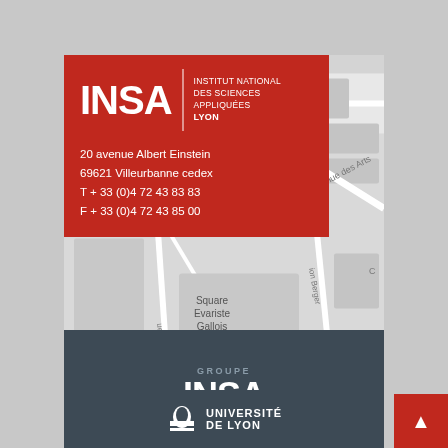[Figure (map): Grayscale street map showing area around INSA Lyon campus, with streets including avenue des Arts, rue Enrico Fermi, avenue Berger, Square Evariste Gallois, BU Sciences La Doua labeled]
[Figure (logo): INSA Lyon red logo box with white text: INSA, INSTITUT NATIONAL DES SCIENCES APPLIQUÉES LYON, address 20 avenue Albert Einstein, 69621 Villeurbanne cedex, T + 33 (0)4 72 43 83 83, F + 33 (0)4 72 43 85 00]
20 avenue Albert Einstein
69621 Villeurbanne cedex
T + 33 (0)4 72 43 83 83
F + 33 (0)4 72 43 85 00
[Figure (logo): Dark gray footer with GROUPE INSA in white text]
[Figure (logo): UNIVERSITÉ DE LYON logo with lion icon at bottom]